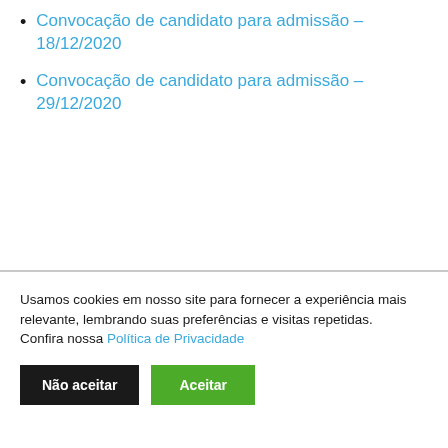Convocação de candidato para admissão – 18/12/2020
Convocação de candidato para admissão – 29/12/2020
Usamos cookies em nosso site para fornecer a experiência mais relevante, lembrando suas preferências e visitas repetidas.
Confira nossa Política de Privacidade
Não aceitar | Aceitar